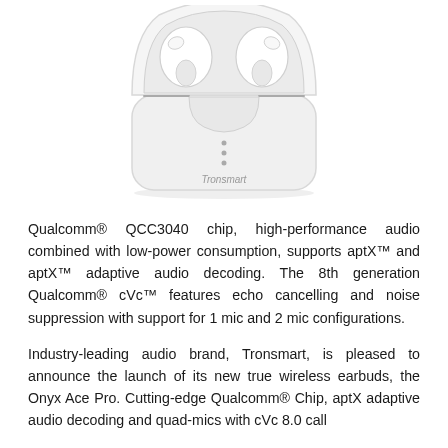[Figure (photo): White wireless earbuds charging case by Tronsmart, shown open with earbuds inside. The case is white/light gray with a U-shaped lid cutout, three LED indicator dots on the front, and the Tronsmart brand name in gray italic text on the front face.]
Qualcomm® QCC3040 chip, high-performance audio combined with low-power consumption, supports aptX™ and aptX™ adaptive audio decoding. The 8th generation Qualcomm® cVc™ features echo cancelling and noise suppression with support for 1 mic and 2 mic configurations.
Industry-leading audio brand, Tronsmart, is pleased to announce the launch of its new true wireless earbuds, the Onyx Ace Pro. Cutting-edge Qualcomm® Chip, aptX adaptive audio decoding and quad-mics with cVc 8.0 call